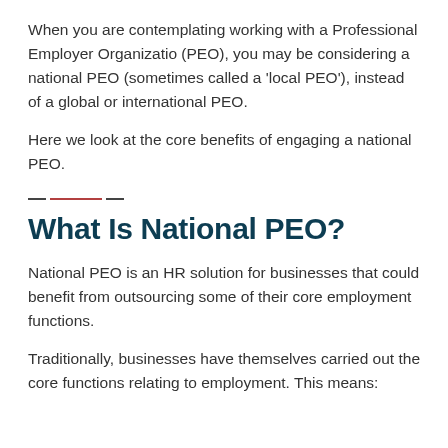When you are contemplating working with a Professional Employer Organizatio (PEO), you may be considering a national PEO (sometimes called a 'local PEO'), instead of a global or international PEO.
Here we look at the core benefits of engaging a national PEO.
What Is National PEO?
National PEO is an HR solution for businesses that could benefit from outsourcing some of their core employment functions.
Traditionally, businesses have themselves carried out the core functions relating to employment. This means: